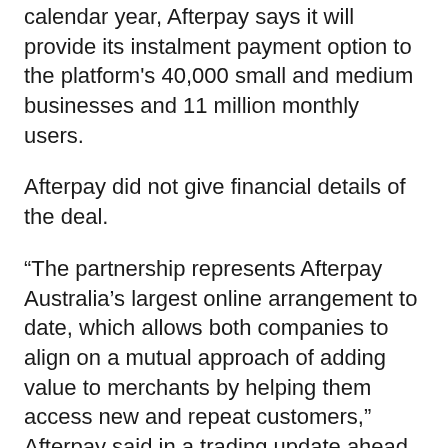calendar year, Afterpay says it will provide its instalment payment option to the platform's 40,000 small and medium businesses and 11 million monthly users.
Afterpay did not give financial details of the deal.
“The partnership represents Afterpay Australia’s largest online arrangement to date, which allows both companies to align on a mutual approach of adding value to merchants by helping them access new and repeat customers,” Afterpay said in a trading update ahead of Wednesday’s annual general meeting.
Even without the deal, Afterpay said global underlying sales of $2.7 billion in the four months to October 31 were more than double those of the prior corresponding period.
The company is already in the process of launching with David Jones department stores in Australia, and with historic clothes and food